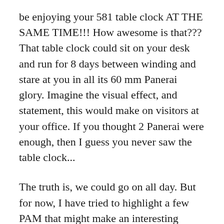be enjoying your 581 table clock AT THE SAME TIME!!! How awesome is that??? That table clock could sit on your desk and run for 8 days between winding and stare at you in all its 60 mm Panerai glory. Imagine the visual effect, and statement, this would make on visitors at your office. If you thought 2 Panerai were enough, then I guess you never saw the table clock...
The truth is, we could go on all day. But for now, I have tried to highlight a few PAM that might make an interesting addition to a serious Panerai collection. I hope, I have given you food for thought. Check out Panerai's catalogue yourself. As always, the fun is in the